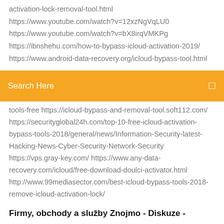activation-lock-removal-tool.html
https://www.youtube.com/watch?v=12xzNgVqLU0
https://www.youtube.com/watch?v=bX8irqVMKPg
https://ibnshehu.com/how-to-bypass-icloud-activation-2019/
https://www.android-data-recovery.org/icloud-bypass-tool.html
Search Here
tools-free https://icloud-bypass-and-removal-tool.soft112.com/ https://securityglobal24h.com/top-10-free-icloud-activation-bypass-tools-2018/general/news/Information-Security-latest-Hacking-News-Cyber-Security-Network-Security https://vps.gray-key.com/ https://www.any-data-recovery.com/icloud/free-download-doulci-activator.html http://www.99mediasector.com/best-icloud-bypass-tools-2018-remove-icloud-activation-lock/
Firmy, obchody a služby Znojmo - Diskuze -